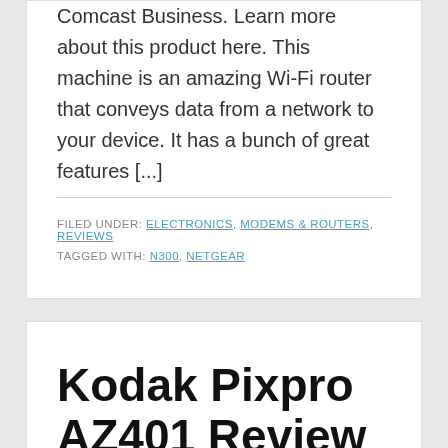Comcast Business. Learn more about this product here. This machine is an amazing Wi-Fi router that conveys data from a network to your device. It has a bunch of great features [...]
FILED UNDER: ELECTRONICS, MODEMS & ROUTERS, REVIEWS
TAGGED WITH: N300, NETGEAR
Kodak Pixpro AZ401 Review – Features, Performance, Pros